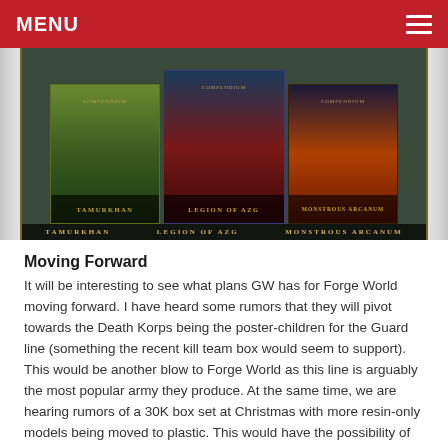MENU
[Figure (photo): A banner image showing three Warhammer/Forge World book covers: Tamurkhan, Legion of Az[gorh], and Monstrous Arcanum, displayed on a dark fantasy scroll/banner background with gold ornamental borders.]
Moving Forward
It will be interesting to see what plans GW has for Forge World moving forward. I have heard some rumors that they will pivot towards the Death Korps being the poster-children for the Guard line (something the recent kill team box would seem to support). This would be another blow to Forge World as this line is arguably the most popular army they produce. At the same time, we are hearing rumors of a 30K box set at Christmas with more resin-only models being moved to plastic. This would have the possibility of getting new players into the HH series and driving more FW sales but I think they need a new rulebook and some simplification before that happens.
I think the most likely outcome for the foreseeable future will be for Forge World to trundle along as is until they find a new dynamic